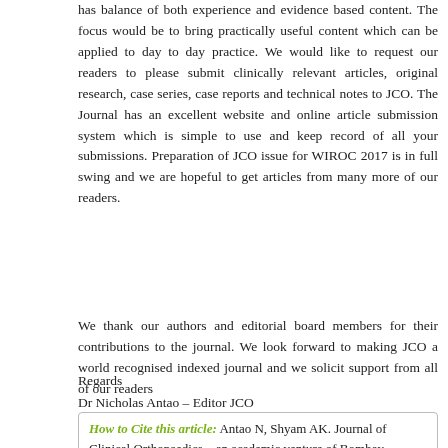has balance of both experience and evidence based content. The focus would be to bring practically useful content which can be applied to day to day practice. We would like to request our readers to please submit clinically relevant articles, original research, case series, case reports and technical notes to JCO. The Journal has an excellent website and online article submission system which is simple to use and keep record of all your submissions. Preparation of JCO issue for WIROC 2017 is in full swing and we are hopeful to get articles from many more of our readers.
We thank our authors and editorial board members for their contributions to the journal. We look forward to making JCO a world recognised indexed journal and we solicit support from all of our readers
Regards
Dr Nicholas Antao – Editor JCO
Dr Ashok Shyam – Associate Editor JCO.
How to Cite this article: Antao N, Shyam AK. Journal of Clinical Orthopaedics – an academic venture of Bombay Orthopaedic Society. Journal of Clinical Orthopaedics Jan...